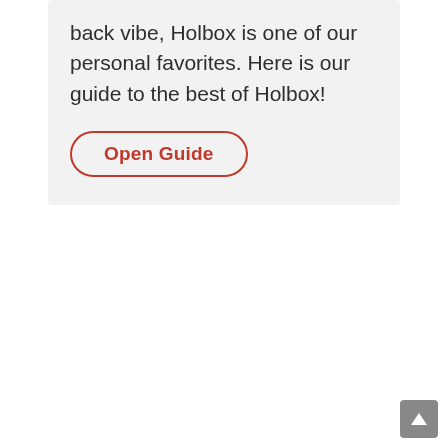back vibe, Holbox is one of our personal favorites. Here is our guide to the best of Holbox!
Open Guide